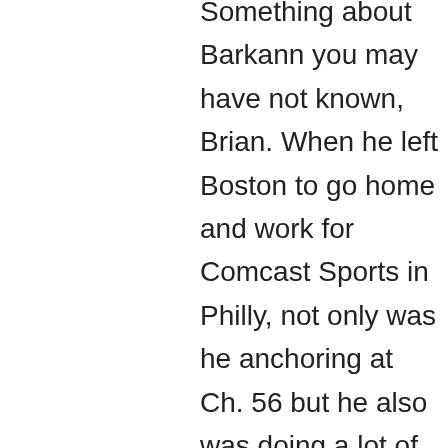Something about Barkann you may have not known, Brian. When he left Boston to go home and work for Comcast Sports in Philly, not only was he anchoring at Ch. 56 but he also was doing a lot of fill-in shifts at EEI and was usually paired up with none other than Gerry Callahan. When Barkann left, Dennis stepped in and the rest FWIW is history.

I actually thought B&C had great on-air chemistry, and to